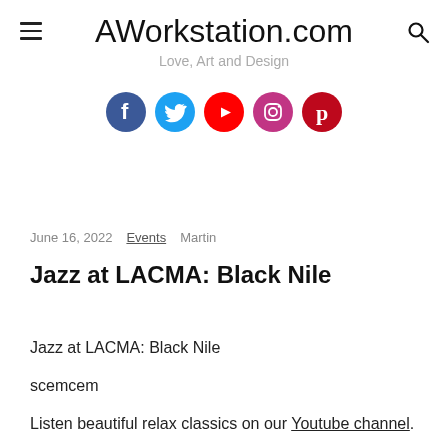AWorkstation.com
Love, Art and Design
[Figure (infographic): Five social media icon circles: Facebook (dark blue, f), Twitter (light blue, bird), YouTube (red, play button), Instagram (pink/magenta, camera), Pinterest (dark red/maroon, P)]
June 16, 2022   Events   Martin
Jazz at LACMA: Black Nile
Jazz at LACMA: Black Nile
scemcem
Listen beautiful relax classics on our Youtube channel.